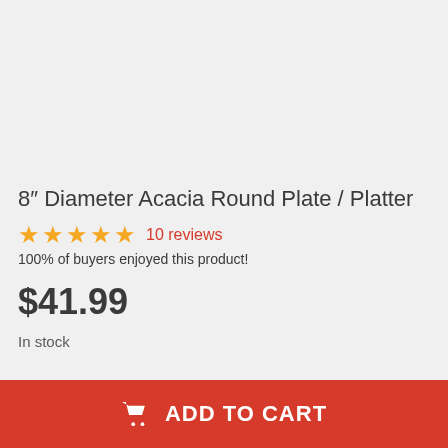[Figure (photo): Product image area for 8-inch Acacia Round Plate / Platter (image not visible, light gray background)]
8″ Diameter Acacia Round Plate / Platter
★★★★★ 10 reviews
100% of buyers enjoyed this product!
$41.99
In stock
ADD TO CART